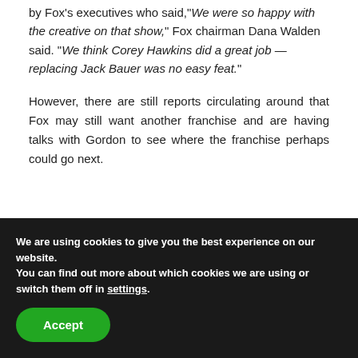by Fox's executives who said, "We were so happy with the creative on that show," Fox chairman Dana Walden said. "We think Corey Hawkins did a great job — replacing Jack Bauer was no easy feat."
However, there are still reports circulating around that Fox may still want another franchise and are having talks with Gordon to see where the franchise perhaps could go next.
We are using cookies to give you the best experience on our website.
You can find out more about which cookies we are using or switch them off in settings.
Accept